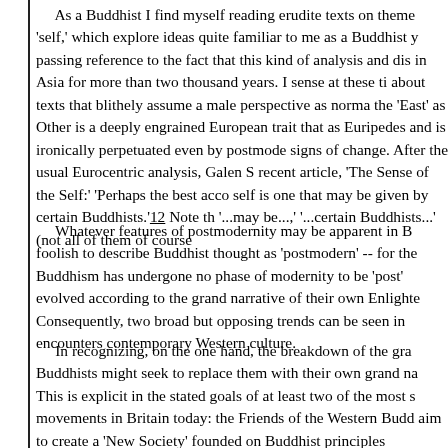As a Buddhist I find myself reading erudite texts on themes of 'self,' which explore ideas quite familiar to me as a Buddhist yet with only passing reference to the fact that this kind of analysis and dis- in Asia for more than two thousand years. I sense at these ti- about texts that blithely assume a male perspective as norma- the 'East' as Other is a deeply engrained European trait that as Euripedes and is ironically perpetuated even by postmode- signs of change. After the usual Eurocentric analysis, Galen S- recent article, 'The Sense of the Self:' 'Perhaps the best acco- self is one that may be given by certain Buddhists.'12 Note the '...may be...,' '...certain Buddhists...' (not all of them of course
Whatever features of postmodernity may be apparent in B- foolish to describe Buddhist thought as 'postmodern' -- for the Buddhism has undergone no phase of modernity to be 'post' evolved according to the grand narrative of their own Enlighte- Consequently, two broad but opposing trends can be seen in encounters contemporary Western culture.
In recognizing, on the one hand, the breakdown of the gra- Buddhists might seek to replace them with their own grand na- This is explicit in the stated goals of at least two of the most s- movements in Britain today: the Friends of the Western Budd- aim to create a 'New Society' founded on Buddhist principles International (SGI), who seek to realize 'Kosen Rufu' -- the w-